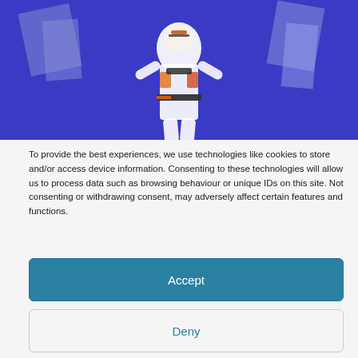[Figure (illustration): A decorative image showing a martial arts or costumed figure against a blue background with geometric shapes]
To provide the best experiences, we use technologies like cookies to store and/or access device information. Consenting to these technologies will allow us to process data such as browsing behaviour or unique IDs on this site. Not consenting or withdrawing consent, may adversely affect certain features and functions.
Accept
Deny
View preferences
Privacy Statement